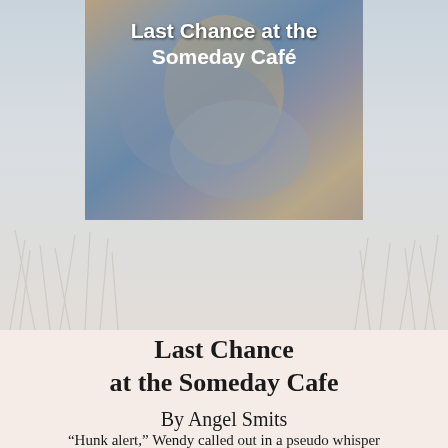[Figure (illustration): Book cover for 'Last Chance at the Someday Café' by Angel Smits, showing a woman in period clothing with a scenic background. The cover is displayed as an inset image over a misty grass/field background.]
Last Chance at the Someday Cafe
By Angel Smits
“Hunk alert,” Wendy called out in a pseudo whisper